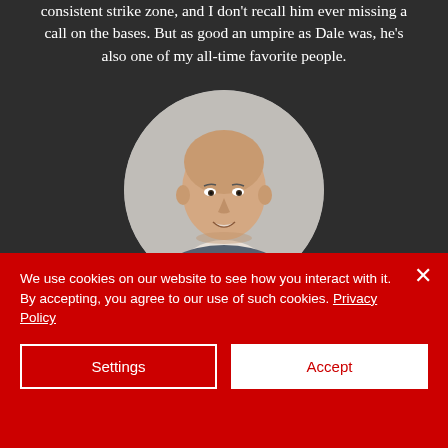consistent strike zone, and I don't recall him ever missing a call on the bases. But as good an umpire as Dale was, he's also one of my all-time favorite people.
[Figure (photo): Circular headshot portrait of a bald man in a grey suit with white shirt, smiling, against a light grey background.]
We use cookies on our website to see how you interact with it. By accepting, you agree to our use of such cookies. Privacy Policy
Settings
Accept